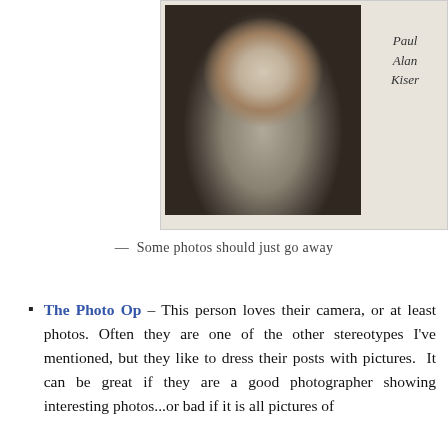[Figure (photo): Black and white yearbook-style portrait photo of a young man with dark hair wearing a turtleneck, with cursive text 'Paul Alan Kiser' written beside the photo on a light background card.]
— Some photos should just go away
The Photo Op – This person loves their camera, or at least photos. Often they are one of the other stereotypes I've mentioned, but they like to dress their posts with pictures. It can be great if they are a good photographer showing interesting photos...or bad if it is all pictures of